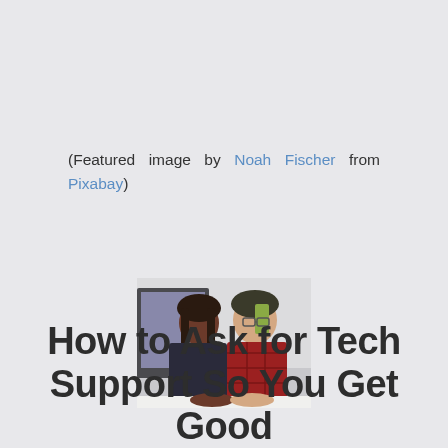(Featured image by Noah Fischer from Pixabay)
[Figure (photo): Two women working together at a computer, one with braids and one with glasses wearing a red plaid shirt]
How to Ask for Tech Support So You Get Good